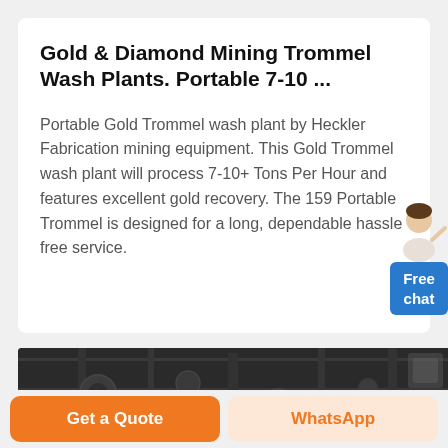Gold & Diamond Mining Trommel Wash Plants. Portable 7-10 ...
Portable Gold Trommel wash plant by Heckler Fabrication mining equipment. This Gold Trommel wash plant will process 7-10+ Tons Per Hour and features excellent gold recovery. The 159 Portable Trommel is designed for a long, dependable hassle free service.
[Figure (photo): Mechanical mining equipment, dark/grey toned photograph of trommel wash plant components]
Get a Quote
WhatsApp